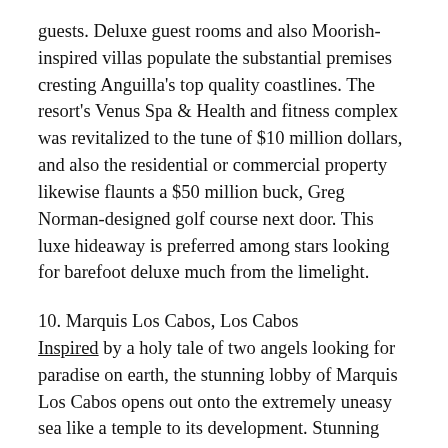guests. Deluxe guest rooms and also Moorish-inspired villas populate the substantial premises cresting Anguilla's top quality coastlines. The resort's Venus Spa & Health and fitness complex was revitalized to the tune of $10 million dollars, and also the residential or commercial property likewise flaunts a $50 million buck, Greg Norman-designed golf course next door. This luxe hideaway is preferred among stars looking for barefoot deluxe much from the limelight.
10. Marquis Los Cabos, Los Cabos
Inspired by a holy tale of two angels looking for paradise on earth, the stunning lobby of Marquis Los Cabos opens out onto the extremely uneasy sea like a temple to its development. Stunning specially-commissioned sculptures, enormous falls, incredible infinity pools, and a wonderful calm spa established the stage for vacationing VIPs. (George